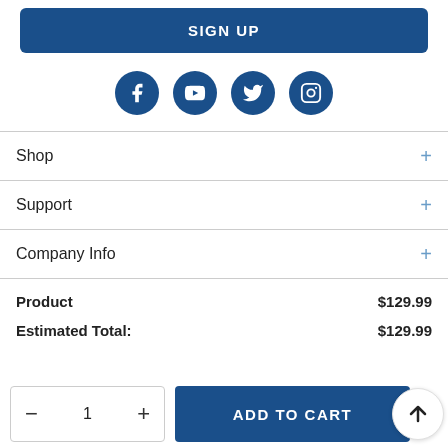SIGN UP
[Figure (illustration): Row of four dark blue circular social media icons: Facebook, YouTube, Twitter, Instagram]
Shop
Support
Company Info
| Product | $129.99 |
| Estimated Total: | $129.99 |
ADD TO CART